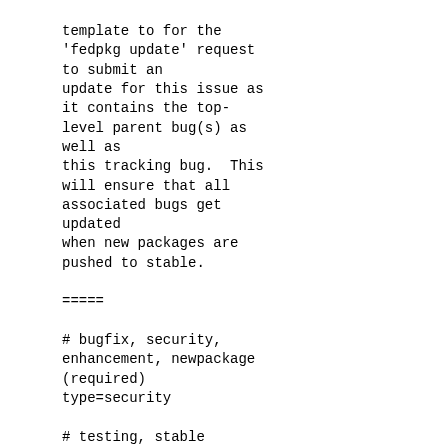template to for the
'fedpkg update' request
to submit an
update for this issue as
it contains the top-
level parent bug(s) as
well as
this tracking bug.  This
will ensure that all
associated bugs get
updated
when new packages are
pushed to stable.

=====

# bugfix, security,
enhancement, newpackage
(required)
type=security

# testing, stable
request=testing

# Bug numbers: 1234,9876
bugs=1216042,1216044

# Description of your
update
notes=Security fix for